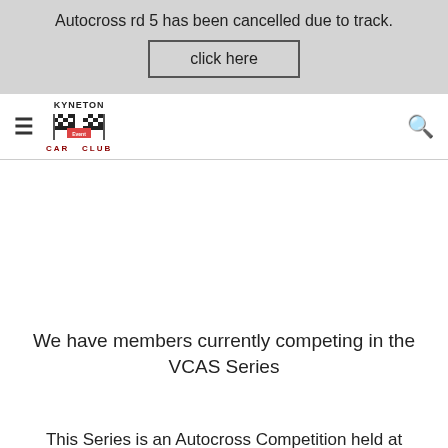Autocross rd 5 has been cancelled due to track.
click here
[Figure (logo): Kyneton Car Club logo with checkered flags]
We have members currently competing in the VCAS Series
This Series is an Autocross Competition held at various Clubs Autocross Tracks throughout